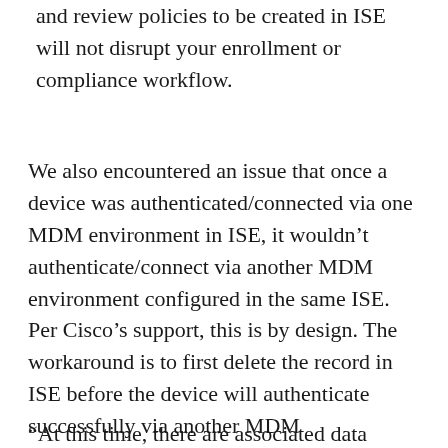and review policies to be created in ISE will not disrupt your enrollment or compliance workflow.
We also encountered an issue that once a device was authenticated/connected via one MDM environment in ISE, it wouldn’t authenticate/connect via another MDM environment configured in the same ISE. Per Cisco’s support, this is by design. The workaround is to first delete the record in ISE before the device will authenticate successfully via another MDM environment.
“At this time, there are associated data the...